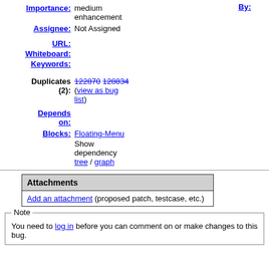Importance: medium enhancement
By:
Assignee: Not Assigned
URL:
Whiteboard:
Keywords:
Duplicates (2): 122870 128834 (view as bug list)
Depends on:
Blocks: Floating-Menu
Show dependency tree / graph
| Attachments |
| --- |
| Add an attachment (proposed patch, testcase, etc.) |
Note
You need to log in before you can comment on or make changes to this bug.